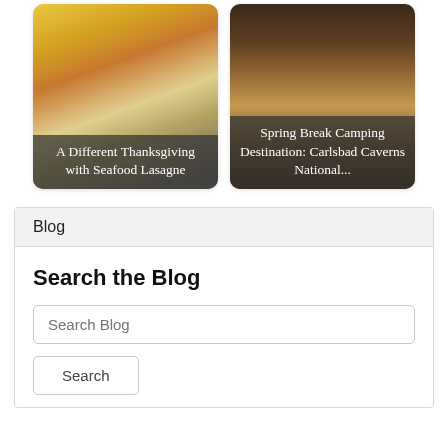[Figure (photo): Photo of seafood lasagne dish with cheese and orange topping, with overlay text: A Different Thanksgiving with Seafood Lasagne]
[Figure (photo): Photo of Carlsbad Caverns stalactites in dark cave, with overlay text: Spring Break Camping Destination: Carlsbad Caverns National...]
Blog
Search the Blog
Search Blog
Search